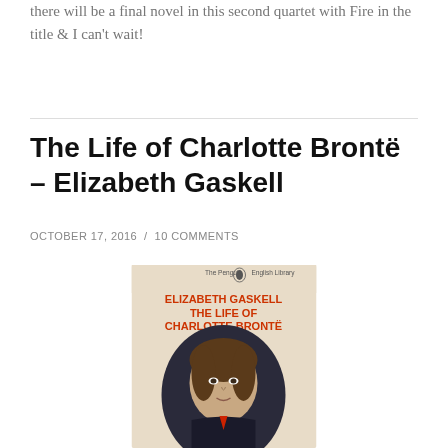there will be a final novel in this second quartet with Fire in the title & I can't wait!
The Life of Charlotte Brontë – Elizabeth Gaskell
OCTOBER 17, 2016 / 10 COMMENTS
[Figure (photo): Book cover of 'The Life of Charlotte Brontë' by Elizabeth Gaskell, Penguin English Library edition, showing a portrait of Charlotte Brontë on the cover with orange text on cream background.]